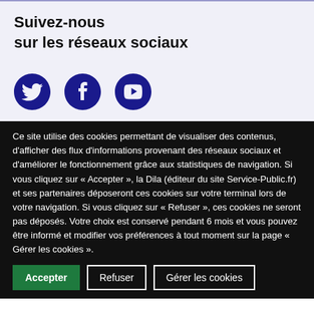Suivez-nous sur les réseaux sociaux
[Figure (illustration): Three social media icons: Twitter bird icon, Facebook f icon, YouTube play button icon, all in dark navy blue color]
Ce site utilise des cookies permettant de visualiser des contenus, d'afficher des flux d'informations provenant des réseaux sociaux et d'améliorer le fonctionnement grâce aux statistiques de navigation. Si vous cliquez sur « Accepter », la Dila (éditeur du site Service-Public.fr) et ses partenaires déposeront ces cookies sur votre terminal lors de votre navigation. Si vous cliquez sur « Refuser », ces cookies ne seront pas déposés. Votre choix est conservé pendant 6 mois et vous pouvez être informé et modifier vos préférences à tout moment sur la page « Gérer les cookies ».
Accepter
Refuser
Gérer les cookies